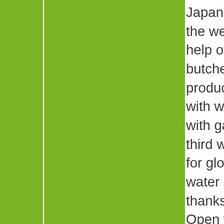Japan wood protection technique – the well called shou-sugi ban with the help of local actor – actually the local butcher – who had a local toolset to produce the burned timber pieces with which we covered the buildings, with gas fuelled flame thrower. As third way how this project is answer for global problems lays in the open water surfaces which will came to life thanks to the change of the area. Open water